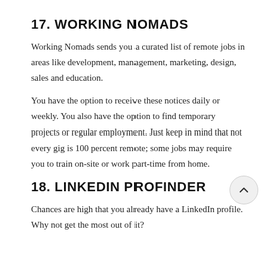17. WORKING NOMADS
Working Nomads sends you a curated list of remote jobs in areas like development, management, marketing, design, sales and education.
You have the option to receive these notices daily or weekly. You also have the option to find temporary projects or regular employment. Just keep in mind that not every gig is 100 percent remote; some jobs may require you to train on-site or work part-time from home.
18. LINKEDIN PROFINDER
Chances are high that you already have a LinkedIn profile. Why not get the most out of it?